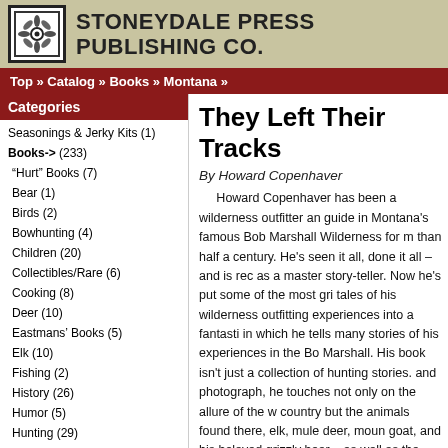STONEYDALE PRESS PUBLISHING CO.
Top » Catalog » Books » Montana »
Categories
Seasonings & Jerky Kits (1)
Books-> (233)
"Hurt" Books (7)
Bear (1)
Birds (2)
Bowhunting (4)
Children (20)
Collectibles/Rare (6)
Cooking (8)
Deer (10)
Eastmans' Books (5)
Elk (10)
Fishing (2)
History (26)
Humor (5)
Hunting (29)
Lewis and Clark (9)
Memoirs/Non fiction (1)
Montana (33)
Mountain Lion (2)
NEW BOOKS (2)
They Left Their Tracks
By Howard Copenhaver
Howard Copenhaver has been a wilderness outfitter and guide in Montana's famous Bob Marshall Wilderness for more than half a century. He's seen it all, done it all – and is recognized as a master story-teller. Now he's put some of the most gripping tales of his wilderness outfitting experiences into a fantastic book in which he tells many stories of his experiences in the Bob Marshall. His book isn't just a collection of hunting stories. Word and photograph, he touches not only on the allure of the wild country but the animals found there, elk, mule deer, mountain goat, and his beloved grizzly bear – as well as the people with whom he has shared his own lifelong wilderness adventures. You'll meet them all in "They Left Their Tracks", the packers, guides, hunters, hikers, fishermen, horse traders, outlaws, game wardens, fellow outfitters, and family. And you'll come away from They Left Their Tracks with an awesome respect for the wilderness, its wildlife, and a man whose own life spanned one of the great eras of the American frontier and who helped shape much of that history. For more than half a century, Howard Copenhaver opened the wilderness vista up to thousands...